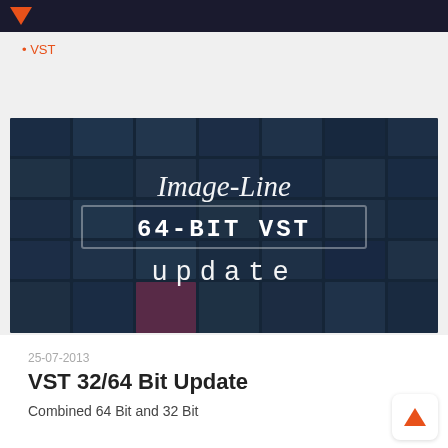Image-Line logo header bar
VST
[Figure (photo): Image-Line 64-BIT VST update promotional banner showing a wall of plugin thumbnails with text overlay reading 'Image-Line 64-BIT VST update']
25-07-2013
VST 32/64 Bit Update
Combined 64 Bit and 32 Bit